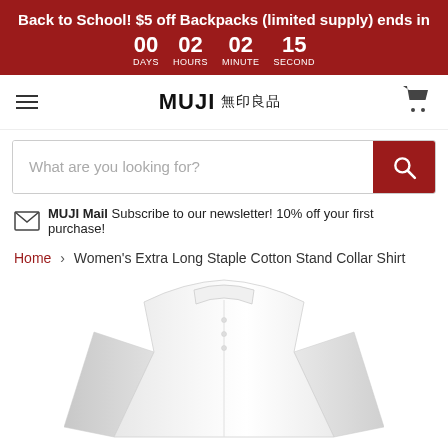Back to School! $5 off Backpacks (limited supply) ends in 00 DAYS 02 HOURS 02 MINUTE 15 SECOND
MUJI 無印良品
What are you looking for?
✉ MUJI Mail Subscribe to our newsletter! 10% off your first purchase!
Home › Women's Extra Long Staple Cotton Stand Collar Shirt
[Figure (photo): White women's stand collar long-sleeve shirt product photo on white background]